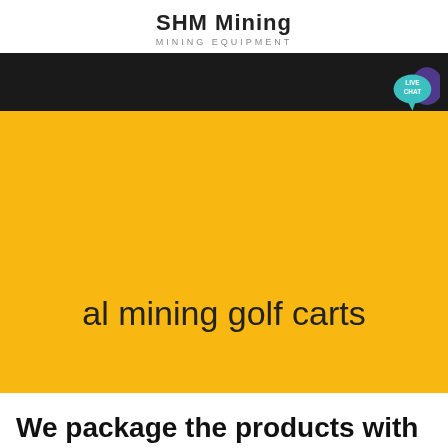SHM Mining
MINING EQUIPMENT
[Figure (screenshot): Website banner with black top bar and yellow background, with a teal 'LIVE CHAT' speech bubble icon and purple chat icon in the top right corner]
al mining golf carts
We package the products with best
Get a Quote
WhatsApp